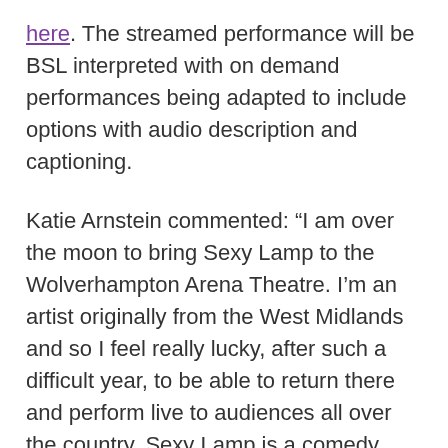here. The streamed performance will be BSL interpreted with on demand performances being adapted to include options with audio description and captioning.
Katie Arnstein commented: “I am over the moon to bring Sexy Lamp to the Wolverhampton Arena Theatre. I’m an artist originally from the West Midlands and so I feel really lucky, after such a difficult year, to be able to return there and perform live to audiences all over the country. Sexy Lamp is a comedy with original songs about my journey to becoming an actor and I hope people feel it provides a tonic to these extremely challenging times, with plenty of laughter and light.”